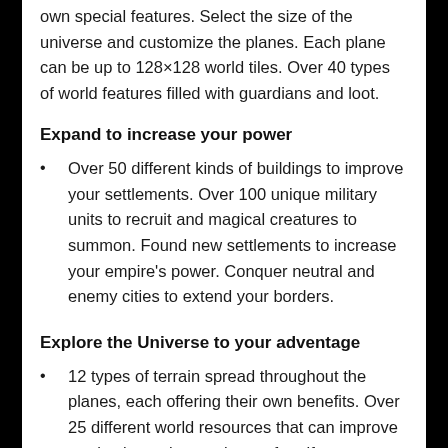own special features. Select the size of the universe and customize the planes. Each plane can be up to 128×128 world tiles. Over 40 types of world features filled with guardians and loot.
Expand to increase your power
Over 50 different kinds of buildings to improve your settlements. Over 100 unique military units to recruit and magical creatures to summon. Found new settlements to increase your empire's power. Conquer neutral and enemy cities to extend your borders.
Explore the Universe to your adventage
12 types of terrain spread throughout the planes, each offering their own benefits. Over 25 different world resources that can improve production or be used to craft artifacts. Capture cities of different races in